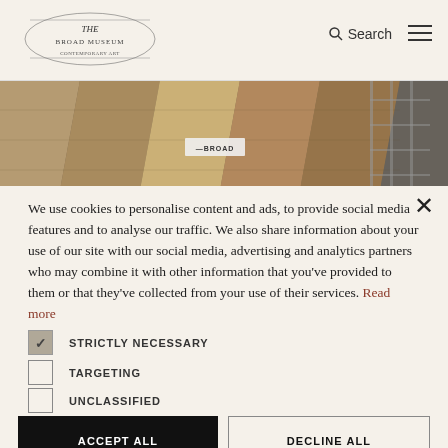Search [menu]
[Figure (photo): Interior construction photo showing geometric ceiling panels and scaffolding, with a sign reading BROAD]
We use cookies to personalise content and ads, to provide social media features and to analyse our traffic. We also share information about your use of our site with our social media, advertising and analytics partners who may combine it with other information that you've provided to them or that they've collected from your use of their services. Read more
STRICTLY NECESSARY
TARGETING
UNCLASSIFIED
ACCEPT ALL
DECLINE ALL
SHOW DETAILS